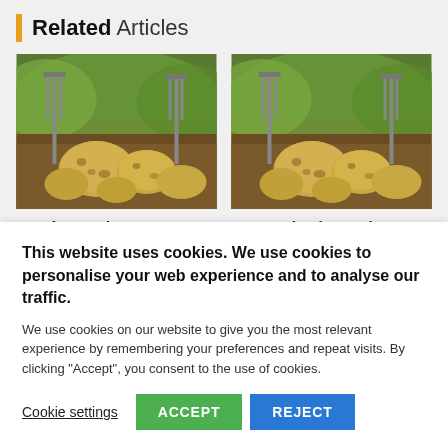Related Articles
[Figure (photo): Freshly harvested potatoes in a field with metal garden tools visible in the background, green foliage behind - left card image]
€3m for Seed Potato Sector Positive Step
[Figure (photo): Freshly harvested potatoes in a field with metal garden tools visible in the background, green foliage behind - right card image]
Potato Planting under Threat unless Growers are
This website uses cookies. We use cookies to personalise your web experience and to analyse our traffic.
We use cookies on our website to give you the most relevant experience by remembering your preferences and repeat visits. By clicking "Accept", you consent to the use of cookies.
Cookie settings
ACCEPT
REJECT